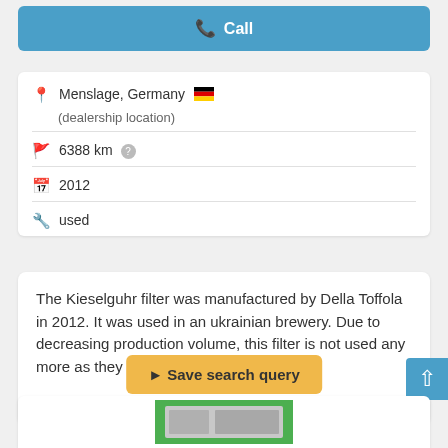Call
Menslage, Germany (dealership location)
6388 km
2012
used
The Kieselguhr filter was manufactured by Della Toffola in 2012. It was used in an ukrainian brewery. Due to decreasing production volume, this filter is not used any more as they have other filter...
Save search query